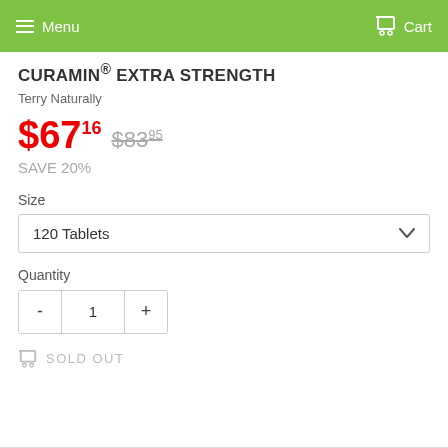Menu  Cart
CURAMIN® EXTRA STRENGTH
Terry Naturally
$67.16  $83.95
SAVE 20%
Size
120 Tablets
Quantity
1
SOLD OUT